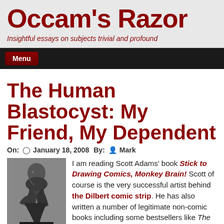Occam's Razor
Insightful essays on subjects trivial and profound
Menu
The Human Blastocyst: My Friend, My Dependent
On: January 18, 2008 By: Mark
[Figure (photo): Black and white photo of The Thinker sculpture by Rodin, showing a man seated in contemplative pose]
I am reading Scott Adams' book Stick to Drawing Comics, Monkey Brain! Scott of course is the very successful artist behind the Dilbert comic strip. He has also written a number of legitimate non-comic books including some bestsellers like The Dilbert Principle. I bought his latest Stick to Drawing